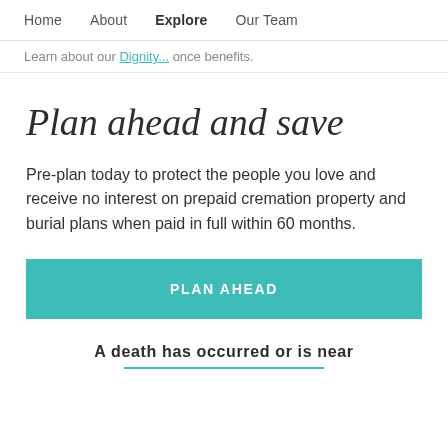Home   About   Explore   Our Team
Learn about our Dignity... once benefits.
Plan ahead and save
Pre-plan today to protect the people you love and receive no interest on prepaid cremation property and burial plans when paid in full within 60 months.
PLAN AHEAD
A death has occurred or is near